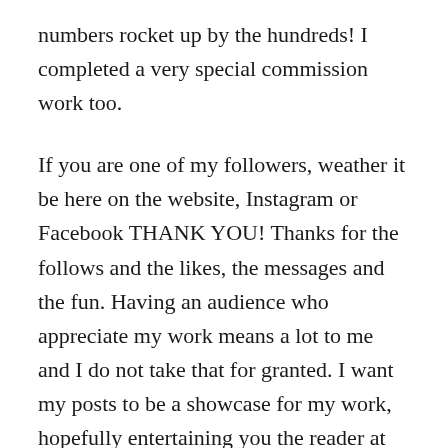numbers rocket up by the hundreds! I completed a very special commission work too.
If you are one of my followers, weather it be here on the website, Instagram or Facebook THANK YOU! Thanks for the follows and the likes, the messages and the fun. Having an audience who appreciate my work means a lot to me and I do not take that for granted. I want my posts to be a showcase for my work, hopefully entertaining you the reader at the same time. I had bigger plans for the website this year but alas, life gets in the way….
I hope to expand on my plans in 2019 and be able to have more time to produce/write more content. In the